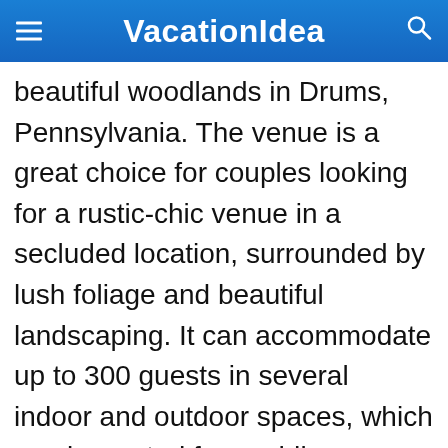VacationIdea
beautiful woodlands in Drums, Pennsylvania. The venue is a great choice for couples looking for a rustic-chic venue in a secluded location, surrounded by lush foliage and beautiful landscaping. It can accommodate up to 300 guests in several indoor and outdoor spaces, which can be rented for wedding ceremonies, receptions, and rehearsal festivities. Couples can say "I do" at their choice of several outdoor ceremony spaces, which showcase lush canopy cover and stone fountains. A spacious banquet hall makes for